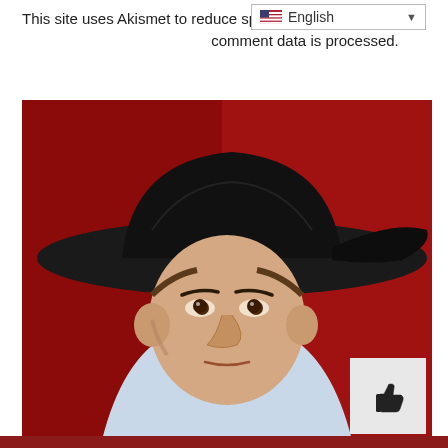This site uses Akismet to reduce sp comment data is processed.
[Figure (photo): Portrait photo of a man wearing a black cowboy hat and white shirt against a red background, with a thumbs-up cursor icon overlay in the bottom right corner]